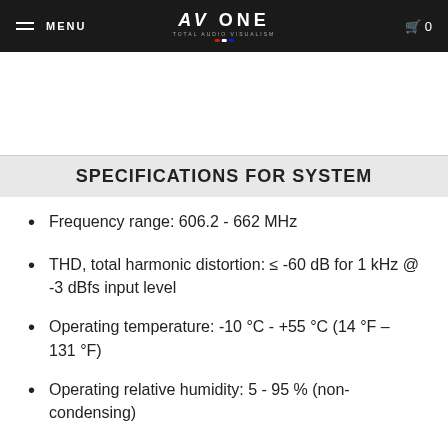MENU | AV ONE TOTAL AUDIO VISUALISM | 0
SPECIFICATIONS FOR SYSTEM
Frequency range: 606.2 - 662 MHz
THD, total harmonic distortion: ≤ -60 dB for 1 kHz @ -3 dBfs input level
Operating temperature: -10 °C - +55 °C (14 °F – 131 °F)
Operating relative humidity: 5 - 95 % (non-condensing)